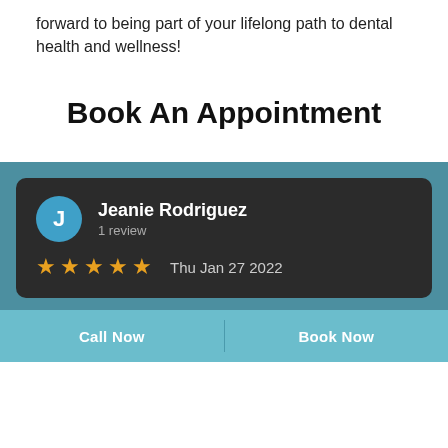forward to being part of your lifelong path to dental health and wellness!
Book An Appointment
[Figure (screenshot): Review card on teal background showing reviewer Jeanie Rodriguez with 1 review, 5 gold stars, and date Thu Jan 27 2022]
Jeanie Rodriguez
1 review
★★★★★  Thu Jan 27 2022
Call Now    Book Now